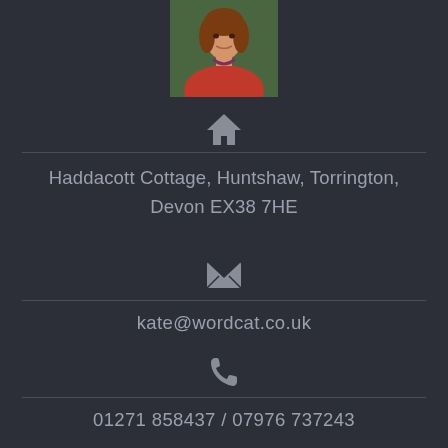[Figure (photo): Portrait photo of a woman in a red top with a beaded necklace, partially cropped at top]
[Figure (other): House/home icon in grey]
Haddacott Cottage, Huntshaw, Torrington, Devon EX38 7HE
[Figure (other): Envelope/email icon in grey]
kate@wordcat.co.uk
[Figure (other): Phone/telephone icon in grey]
01271 858437 / 07976 737243